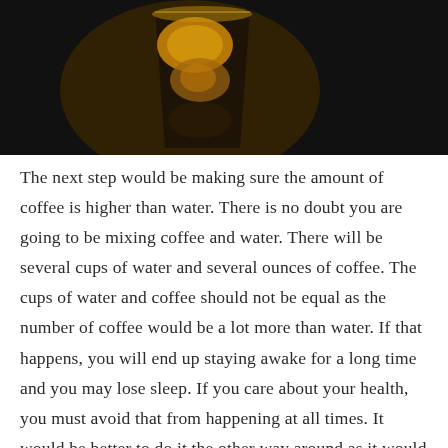[Figure (photo): Close-up photo of a glass of iced coffee on a dark background, with amber and golden tones from ice and liquid]
The next step would be making sure the amount of coffee is higher than water. There is no doubt you are going to be mixing coffee and water. There will be several cups of water and several ounces of coffee. The cups of water and coffee should not be equal as the number of coffee would be a lot more than water. If that happens, you will end up staying awake for a long time and you may lose sleep. If you care about your health, you must avoid that from happening at all times. It would be better to do it the other way around as it would not be wise to drink caffeine at least four hours before you plan on hitting the sack.